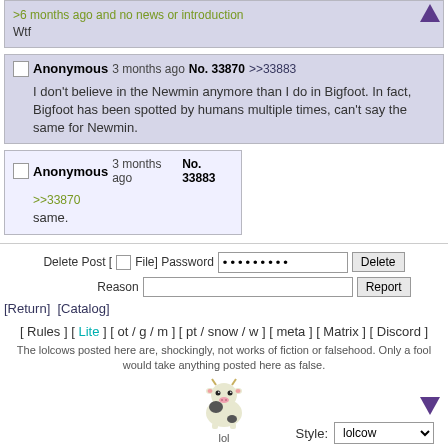>6 months ago and no news or introduction
Wtf
Anonymous 3 months ago No. 33870 >>33883
I don't believe in the Newmin anymore than I do in Bigfoot. In fact, Bigfoot has been spotted by humans multiple times, can't say the same for Newmin.
Anonymous 3 months ago No. 33883
>>33870
same.
Delete Post [ ] File] Password ••••••••• Delete
Reason  Report
[Return] [Catalog]
[ Rules ] [ Lite ] [ ot / g / m ] [ pt / snow / w ] [ meta ] [ Matrix ] [ Discord ]
The lolcows posted here are, shockingly, not works of fiction or falsehood. Only a fool would take anything posted here as false.
[Figure (illustration): Pixel art cow mascot labeled 'lol']
Style: lolcow